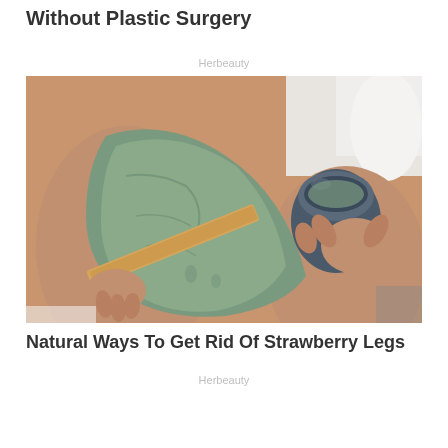Without Plastic Surgery
Herbeauty
[Figure (photo): Close-up photo of a person applying green clay or mud mask to their leg using a wooden spatula, holding a dark ceramic bowl in the other hand, on a white background.]
Natural Ways To Get Rid Of Strawberry Legs
Herbeauty